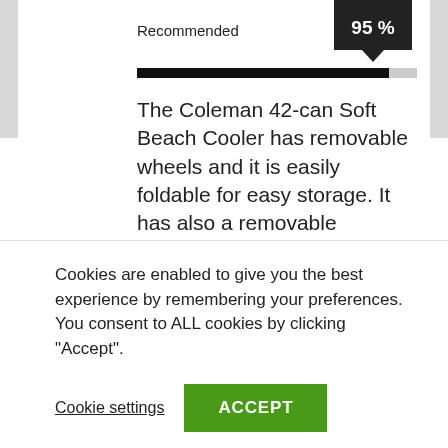Recommended
[Figure (infographic): 95% badge (dark square with white text '95 %' and downward pointing arrow/chevron below)]
[Figure (infographic): Progress bar showing approximately 90% fill in black on gray background]
The Coleman 42-can Soft Beach Cooler has removable wheels and it is easily foldable for easy storage. It has also a removable antimicrobial liner that prevents bad odor, mildew, fungus, and molds. Although smaller in size compared to other models, its large wheels are very sturdy to carry all the loads you got.
Cookies are enabled to give you the best experience by remembering your preferences. You consent to ALL cookies by clicking "Accept".
Cookie settings
ACCEPT